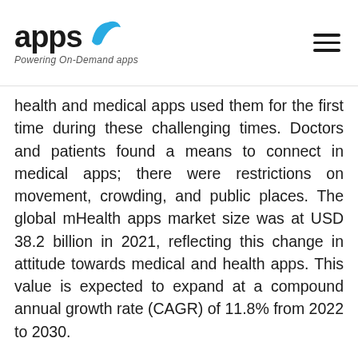apps — Powering On-Demand apps
health and medical apps used them for the first time during these challenging times. Doctors and patients found a means to connect in medical apps; there were restrictions on movement, crowding, and public places. The global mHealth apps market size was at USD 38.2 billion in 2021, reflecting this change in attitude towards medical and health apps. This value is expected to expand at a compound annual growth rate (CAGR) of 11.8% from 2022 to 2030.
Even before the pandemic took the world by storm, there was already a substantial increase in m-health solutions because of the increasing use of mobile technology. The use of